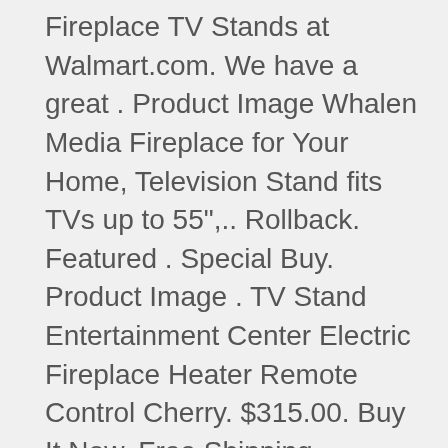Fireplace TV Stands at Walmart.com. We have a great . Product Image Whalen Media Fireplace for Your Home, Television Stand fits TVs up to 55",. Rollback. Featured . Special Buy. Product Image . TV Stand Entertainment Center Electric Fireplace Heater Remote Control Cherry. $315.00. Buy It Now. Free Shipping. Multiple finishes are available. Home Decorators Collection Chestnut Hill 68 in. TV Stand Electric Fireplace with Sliding Barn Door in Rustic Brown. See Lower Price in Cart. Free delivery. Buy products related to tv stand with electric fireplace heater products and see what customers say about tv stand with electric fireplace heater products on . Give your flat-screen a handsome home with this tasteful Sunbury TV Stand for TVs up to 60” with Electric Fireplace, a clean-lined design that brings simple